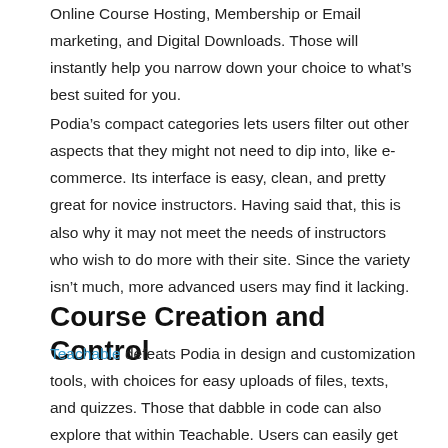Online Course Hosting, Membership or Email marketing, and Digital Downloads. Those will instantly help you narrow down your choice to what's best suited for you.
Podia's compact categories lets users filter out other aspects that they might not need to dip into, like e-commerce. Its interface is easy, clean, and pretty great for novice instructors. Having said that, this is also why it may not meet the needs of instructors who wish to do more with their site. Since the variety isn't much, more advanced users may find it lacking.
Course Creation and Control
Teachable defeats Podia in design and customization tools, with choices for easy uploads of files, texts, and quizzes. Those that dabble in code can also explore that within Teachable. Users can easily get the sleek look of a professional site by selecting from default themes which can be customized to satisfaction. Teachable's editor makes it effortless to create changes and push